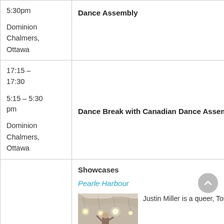| Time / Venue | Event |
| --- | --- |
| 5:30pm

Dominion Chalmers, Ottawa | Dance Assembly |
| 17:15 – 17:30

5:15 – 5:30 pm

Dominion Chalmers, Ottawa | Dance Break with Canadian Dance Assembly |
|  | Showcases

Pearle Harbour

Justin Miller is a queer, Toronto- |